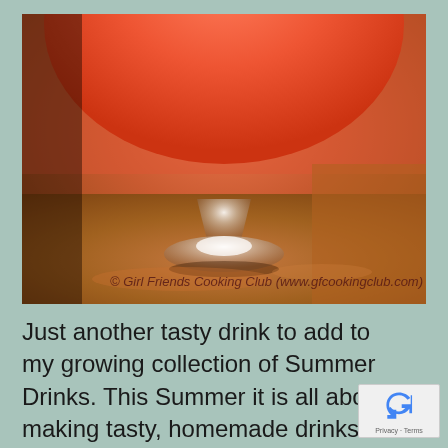[Figure (photo): Close-up photograph of a red/coral colored drink in a stemmed glass goblet, sitting on a wooden surface. The drink appears to be a fruity cocktail or mocktail. A watermark reads '© Girl Friends Cooking Club (www.gfcookingclub.com)' at the bottom of the image.]
Just another tasty drink to add to my growing collection of Summer Drinks. This Summer it is all about making tasty, homemade drinks beat the heat. Enjoy ~ Kamakshi